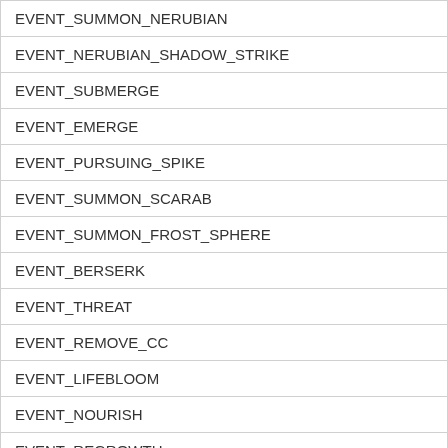| EVENT_SUMMON_NERUBIAN |
| EVENT_NERUBIAN_SHADOW_STRIKE |
| EVENT_SUBMERGE |
| EVENT_EMERGE |
| EVENT_PURSUING_SPIKE |
| EVENT_SUMMON_SCARAB |
| EVENT_SUMMON_FROST_SPHERE |
| EVENT_BERSERK |
| EVENT_THREAT |
| EVENT_REMOVE_CC |
| EVENT_LIFEBLOOM |
| EVENT_NOURISH |
| EVENT_REGROWTH |
| EVENT_REJUVENATION |
| EVENT_TRANQUILITY |
| EVENT_HEAL_BARKSKIN |
| EVENT_THORNS |